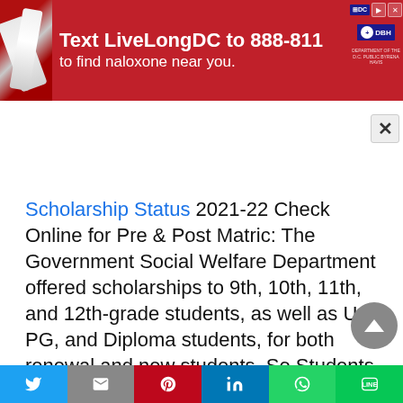[Figure (screenshot): Red advertisement banner: 'Text LiveLongDC to 888-811 to find naloxone near you.' with DC government logos on the right and a syringe/medical image on the left.]
Scholarship Status 2021-22 Check Online for Pre & Post Matric: The Government Social Welfare Department offered scholarships to 9th, 10th, 11th, and 12th-grade students, as well as UG, PG, and Diploma students, for both renewal and new students. So Students in the ninth and tenth grades are eligible for a Pre-Matric Scholarship. So